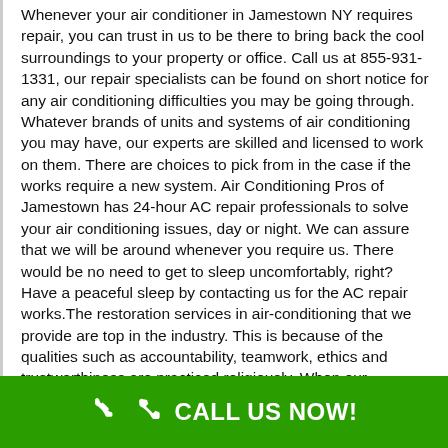Whenever your air conditioner in Jamestown NY requires repair, you can trust in us to be there to bring back the cool surroundings to your property or office. Call us at 855-931-1331, our repair specialists can be found on short notice for any air conditioning difficulties you may be going through. Whatever brands of units and systems of air conditioning you may have, our experts are skilled and licensed to work on them. There are choices to pick from in the case if the works require a new system. Air Conditioning Pros of Jamestown has 24-hour AC repair professionals to solve your air conditioning issues, day or night. We can assure that we will be around whenever you require us. There would be no need to get to sleep uncomfortably, right? Have a peaceful sleep by contacting us for the AC repair works.The restoration services in air-conditioning that we provide are top in the industry. This is because of the qualities such as accountability, teamwork, ethics and trustworthiness are practiced religiously. When our
CALL US NOW!